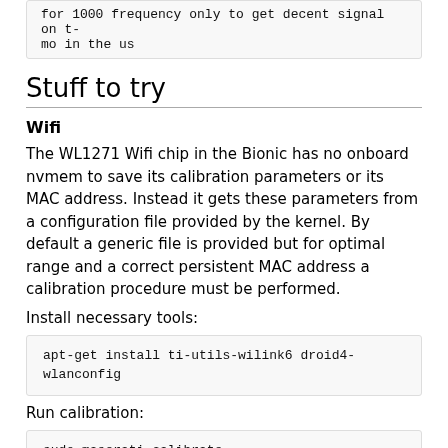for 1000 frequency only to get decent signal on t-mo in the us
Stuff to try
Wifi
The WL1271 Wifi chip in the Bionic has no onboard nvmem to save its calibration parameters or its MAC address. Instead it gets these parameters from a configuration file provided by the kernel. By default a generic file is provided but for optimal range and a correct persistent MAC address a calibration procedure must be performed.
Install necessary tools:
apt-get install ti-utils-wilink6 droid4-wlanconfig
Run calibration:
sudo maserati-calibrate
3G Internet